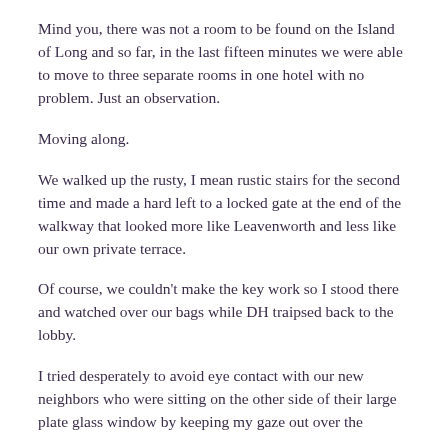Mind you, there was not a room to be found on the Island of Long and so far, in the last fifteen minutes we were able to move to three separate rooms in one hotel with no problem. Just an observation.
Moving along.
We walked up the rusty, I mean rustic stairs for the second time and made a hard left to a locked gate at the end of the walkway that looked more like Leavenworth and less like our own private terrace.
Of course, we couldn't make the key work so I stood there and watched over our bags while DH traipsed back to the lobby.
I tried desperately to avoid eye contact with our new neighbors who were sitting on the other side of their large plate glass window by keeping my gaze out over the